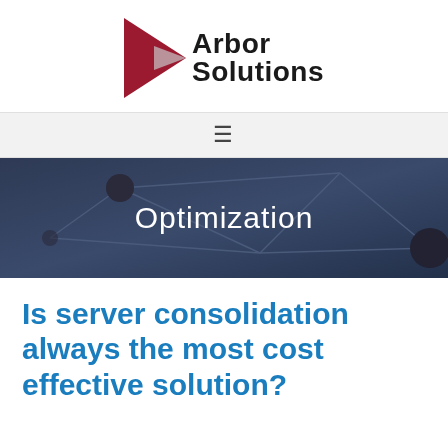[Figure (logo): Arbor Solutions logo with dark red triangular arrow shape and bold text reading 'Arbor Solutions']
[Figure (other): Navigation bar with hamburger menu icon (three horizontal lines)]
[Figure (other): Hero banner with dark navy blue background showing network node diagram with lines and circles, with the word 'Optimization' in white text overlaid]
Is server consolidation always the most cost effective solution?